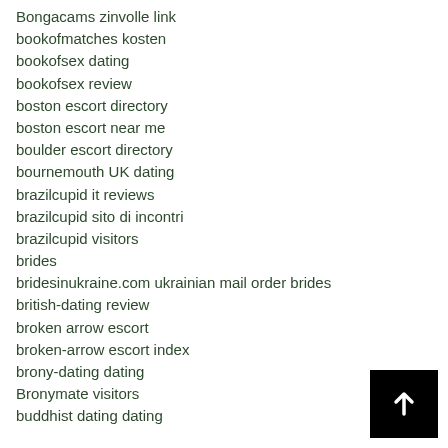Bongacams zinvolle link
bookofmatches kosten
bookofsex dating
bookofsex review
boston escort directory
boston escort near me
boulder escort directory
bournemouth UK dating
brazilcupid it reviews
brazilcupid sito di incontri
brazilcupid visitors
brides
bridesinukraine.com ukrainian mail order brides
british-dating review
broken arrow escort
broken-arrow escort index
brony-dating dating
Bronymate visitors
buddhist dating dating